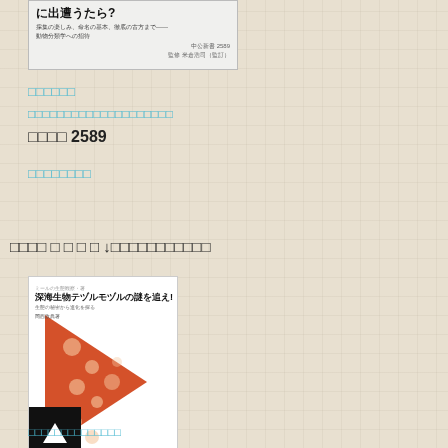[Figure (photo): Book cover image at top: Japanese book with title text 'に出遭うたら?' subtitle and series info 中公新書 2589]
□□□□□□
□□□□□□□□□□□□□□□□□□□□
□□□□ 2589
□□□□□□□□
□□□□ □ □ □ □ ↓□□□□□□□□□□□
[Figure (photo): Book cover: 深海生物テヅルモヅルの謎を追え! with orange arrow/triangle pattern design on white background]
□□□□□□□□□□□□□□